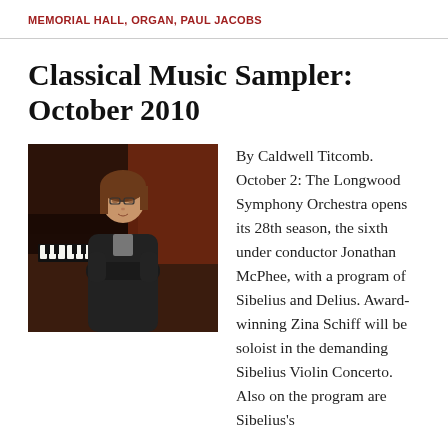MEMORIAL HALL, ORGAN, PAUL JACOBS
Classical Music Sampler: October 2010
[Figure (photo): A young man with medium-length hair and glasses sits in front of a grand piano, arms crossed, wearing a dark jacket.]
By Caldwell Titcomb. October 2: The Longwood Symphony Orchestra opens its 28th season, the sixth under conductor Jonathan McPhee, with a program of Sibelius and Delius. Award-winning Zina Schiff will be soloist in the demanding Sibelius Violin Concerto. Also on the program are Sibelius's